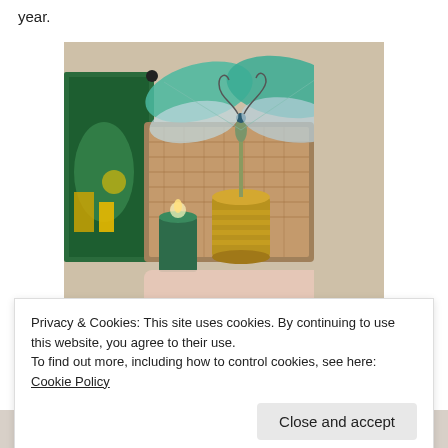year.
[Figure (photo): A decorative dragonfly sculpture with teal/turquoise wings and wire antennae, sitting atop a brass vase/bucket. Behind it is a colorful painting and a woven box/basket, along with a green candle. Items arranged on a surface with soft textiles.]
Privacy & Cookies: This site uses cookies. By continuing to use this website, you agree to their use.
To find out more, including how to control cookies, see here: Cookie Policy
Close and accept